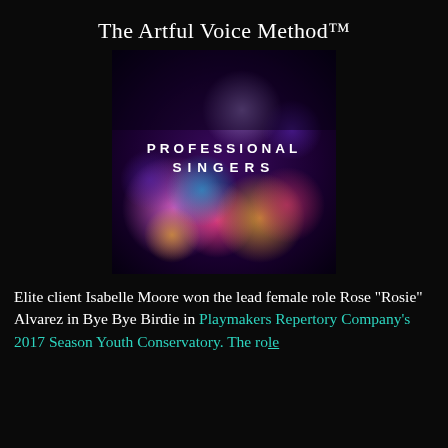The Artful Voice Method™
[Figure (illustration): Square album/card artwork with a dark bokeh background featuring colorful blurred light circles in purple, pink, red, blue, and gold tones. Centered white bold text reads 'PROFESSIONAL SINGERS' in all caps with wide letter-spacing.]
Elite client Isabelle Moore won the lead female role Rose "Rosie" Alvarez in Bye Bye Birdie in Playmakers Repertory Company's 2017 Season Youth Conservatory. The role...